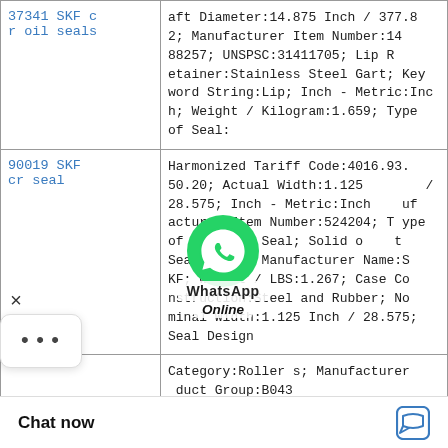| Product | Details |
| --- | --- |
| 37341 SKF cr oil seals | aft Diameter:14.875 Inch / 377.82; Manufacturer Item Number:1488257; UNSPSC:31411705; Lip Retainer:Stainless Steel Gart; Keyword String:Lip; Inch - Metric:Inch; Weight / Kilogram:1.659; Type of Seal: |
| 90019 SKF cr seal | Harmonized Tariff Code:4016.93.50.20; Actual Width:1.125 / 28.575; Inch - Metric:Inch; Manufacturer Item Number:524204; Type of Seal:Oil Seal; Solid or Split Seal:Solid; Manufacturer Name:SKF; Weight / LBS:1.267; Case Construction:Steel and Rubber; Nominal Width:1.125 Inch / 28.575; Seal Design |
|  | Category:Rollers; Manufacturer Product Group:B043; Weight / Kilogram:0.38; |
[Figure (other): WhatsApp Online overlay with green WhatsApp icon, 'WhatsApp' label and 'Online' label]
× ...
Chat now